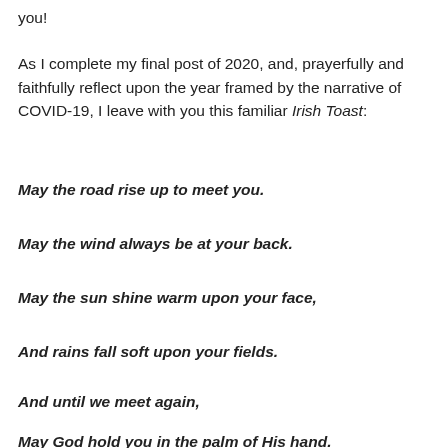you!
As I complete my final post of 2020, and, prayerfully and faithfully reflect upon the year framed by the narrative of COVID-19, I leave with you this familiar Irish Toast:
May the road rise up to meet you.
May the wind always be at your back.
May the sun shine warm upon your face,
And rains fall soft upon your fields.
And until we meet again,
May God hold you in the palm of His hand.
It has been my unique honor and privilege to visit with you